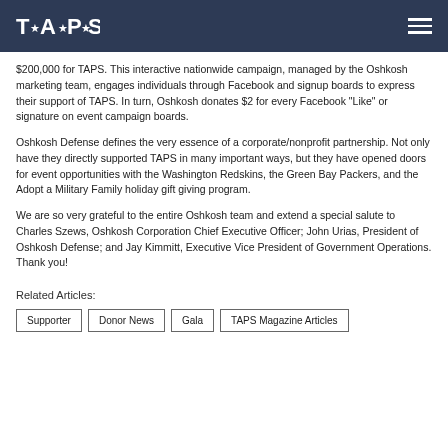TAPS logo and navigation
$200,000 for TAPS. This interactive nationwide campaign, managed by the Oshkosh marketing team, engages individuals through Facebook and signup boards to express their support of TAPS. In turn, Oshkosh donates $2 for every Facebook "Like" or signature on event campaign boards.
Oshkosh Defense defines the very essence of a corporate/nonprofit partnership. Not only have they directly supported TAPS in many important ways, but they have opened doors for event opportunities with the Washington Redskins, the Green Bay Packers, and the Adopt a Military Family holiday gift giving program.
We are so very grateful to the entire Oshkosh team and extend a special salute to Charles Szews, Oshkosh Corporation Chief Executive Officer; John Urias, President of Oshkosh Defense; and Jay Kimmitt, Executive Vice President of Government Operations. Thank you!
Related Articles:
Supporter
Donor News
Gala
TAPS Magazine Articles